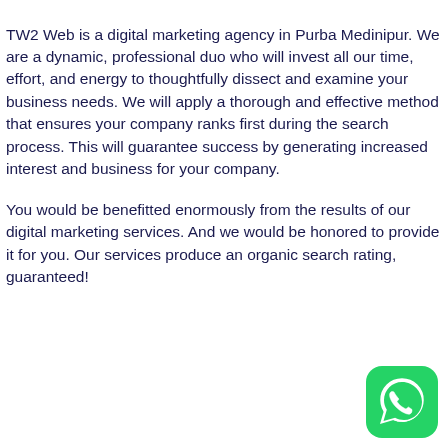TW2 Web is a digital marketing agency in Purba Medinipur. We are a dynamic, professional duo who will invest all our time, effort, and energy to thoughtfully dissect and examine your business needs. We will apply a thorough and effective method that ensures your company ranks first during the search process. This will guarantee success by generating increased interest and business for your company.
You would be benefitted enormously from the results of our digital marketing services. And we would be honored to provide it for you. Our services produce an organic search rating, guaranteed!
[Figure (logo): WhatsApp logo icon — green rounded square with white phone receiver inside a speech bubble]